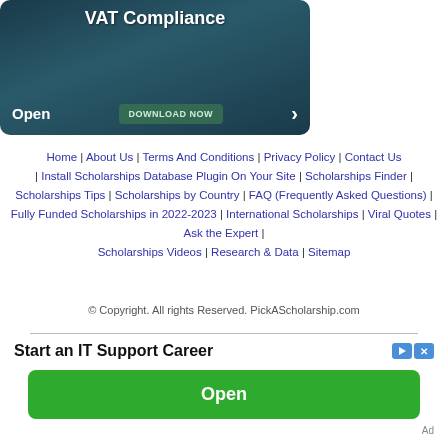[Figure (screenshot): Advertisement banner with dark teal background showing 'VAT Compliance' title, 'DOWNLOAD NOW' button, 'Open' text and arrow]
Home | About Us | Terms And Conditions | Privacy Policy | Contact Us | Install Scholarships Database Plugin On Your Site | Scholarships Finder | Scholarships Tips | Scholarships by Country | FAQ (Frequently Asked Questions) | Fully Funded Scholarships in 2022-2023 | International Scholarships | Viral Quotes | Ask the Expert | Scholarships Videos | Research & Data | Sitemap
© Copyright. All rights Reserved. PickAScholarship.com
[Figure (screenshot): Advertisement banner: 'Start an IT Support Career' with Open button in green]